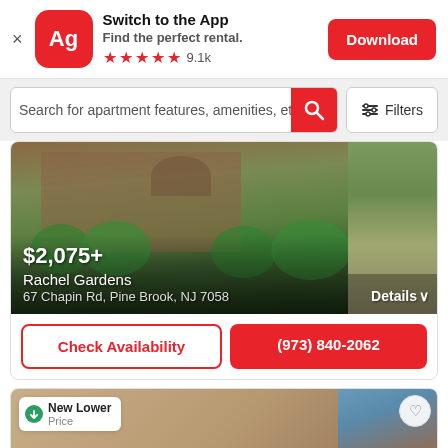[Figure (screenshot): App banner with Apartmentguide (Ag) logo icon, title 'Switch to the App', subtitle 'Find the perfect rental.', 5 red stars, rating 9.1k, and a red Download button]
Switch to the App
Find the perfect rental.
★★★★★ 9.1k
Search for apartment features, amenities, etc
Filters
[Figure (photo): Apartment building exterior at Rachel Gardens - brick building with balconies, green bushes, arched entranceway. Price overlay showing $2,075+, Rachel Gardens, 67 Chapin Rd, Pine Brook, NJ 7058. Details button at bottom right.]
$2,075+
Rachel Gardens
67 Chapin Rd, Pine Brook, NJ 7058
Details ∨
Check Availability
(973) 840-2062
[Figure (photo): Partial second listing card showing 'New Lower Price' badge with green down arrow icon, and a partial photo of a building with blue sky and brick facade visible on the right side.]
New Lower
Price